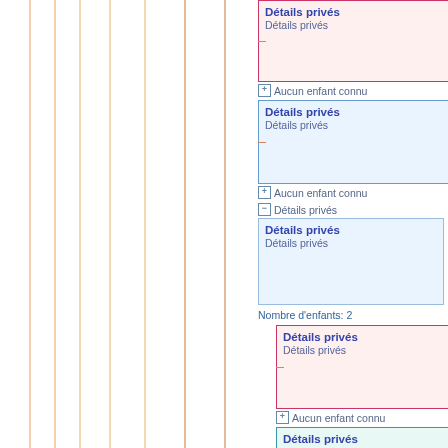[Figure (organizational-chart): Genealogy or hierarchy tree diagram showing nodes labeled 'Détails privés' in pink, blue, and teal boxes with expand/collapse controls, vertical orange indentation lines, and up-arrow navigation buttons with version numbers 1.1.4.1]
Détails privés (card 1, pink) - Détails privés
Aucun enfant connu
Détails privés (card 2, blue) - Détails privés
Aucun enfant connu
Détails privés (collapsed minus)
Détails privés (card 3, blue) - Détails privés
Nombre d'enfants: 2
Détails privés (card 4, pink) - Détails privés
Aucun enfant connu
Détails privés (card 5, teal) - Détails privés